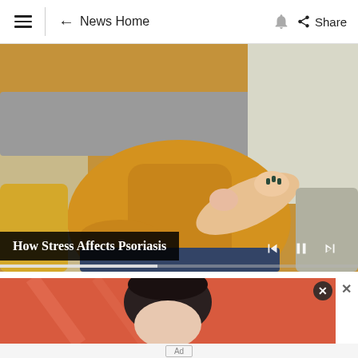≡ | ← News Home 🔔 Share
[Figure (photo): Woman in yellow/mustard knit sweater sitting on grey couch, scratching her elbow — illustrating psoriasis. Video player controls and progress bar visible. Caption overlay: 'How Stress Affects Psoriasis']
How Stress Affects Psoriasis
[Figure (photo): Advertisement image: woman with dark hair against orange/coral background, partially visible. Close button (×) in top-right corner.]
Ad